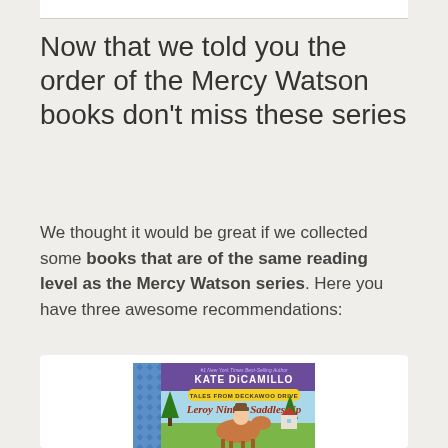Now that we told you the order of the Mercy Watson books don't miss these series
We thought it would be great if we collected some books that are of the same reading level as the Mercy Watson series. Here you have three awesome recommendations:
[Figure (illustration): Book cover of 'Leroy Ninker Saddles Up' by Kate DiCamillo, part of the Tales from Deckawoo Drive series. Shows a child in a cowboy hat riding a horse, with trees and a house in the background. The left side has a blue diamond pattern border.]